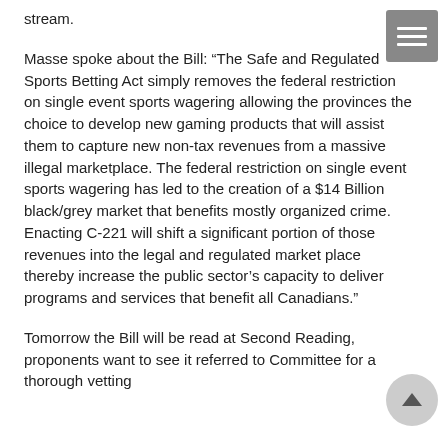stream.
Masse spoke about the Bill: “The Safe and Regulated Sports Betting Act simply removes the federal restriction on single event sports wagering allowing the provinces the choice to develop new gaming products that will assist them to capture new non-tax revenues from a massive illegal marketplace. The federal restriction on single event sports wagering has led to the creation of a $14 Billion black/grey market that benefits mostly organized crime. Enacting C-221 will shift a significant portion of those revenues into the legal and regulated market place thereby increase the public sector’s capacity to deliver programs and services that benefit all Canadians.”
Tomorrow the Bill will be read at Second Reading, proponents want to see it referred to Committee for a thorough vetting